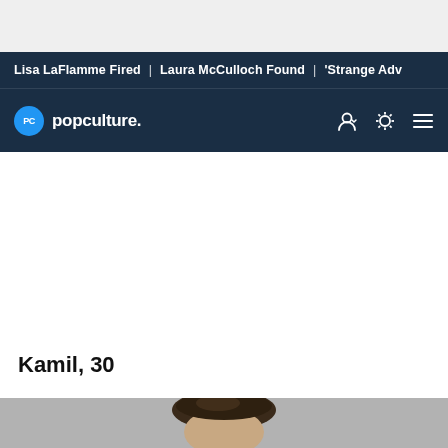Lisa LaFlamme Fired | Laura McCulloch Found | 'Strange Adv
[Figure (logo): PopCulture.com logo — blue circle with PC initials and popculture. wordmark in white on dark navy navigation bar]
Kamil, 30
[Figure (photo): Portrait photo of a young man named Kamil, 30, with dark brown hair styled back, against a gray background — partially visible, cropped at bottom of page]